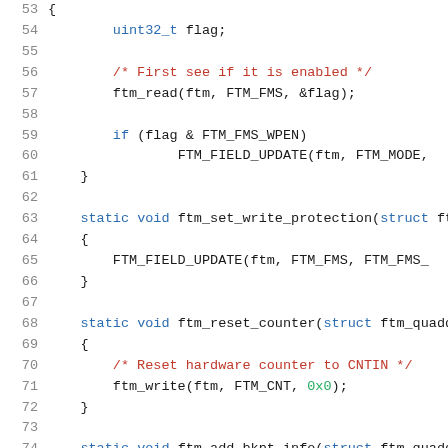Code listing lines 53-74, C source code for FTM (FlexTimer Module) driver functions including ftm_set_write_protection and ftm_reset_counter